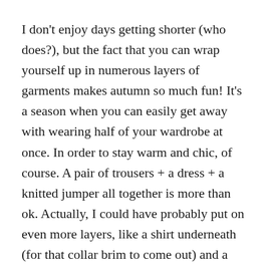I don't enjoy days getting shorter (who does?), but the fact that you can wrap yourself up in numerous layers of garments makes autumn so much fun! It's a season when you can easily get away with wearing half of your wardrobe at once. In order to stay warm and chic, of course. A pair of trousers + a dress + a knitted jumper all together is more than ok. Actually, I could have probably put on even more layers, like a shirt underneath (for that collar brim to come out) and a thick coast-west on top. Yet the day wasn't as cold, so I stopped where you see I did.
You probably already got the idea of what my main tip for staying warm during the winter is. And yes, you're right – LAYERS is the word. Surely, you can